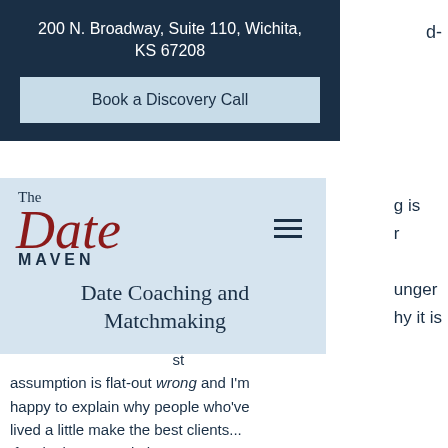200 N. Broadway, Suite 110, Wichita, KS 67208
Book a Discovery Call
[Figure (logo): The Date Maven logo with cursive red 'Date' text and dark blue 'MAVEN' in small caps, followed by subtitle 'Date Coaching and Matchmaking']
Date Coaching and Matchmaking
assumption is flat-out wrong and I'm happy to explain why people who've lived a little make the best clients... If a single woman in her 30's, 40's, 50's, etc. can hitch up her courage and her confidence and refuse to believe the societal myth that "it's almost over"